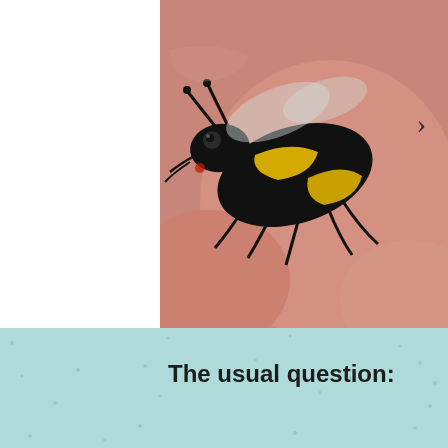[Figure (photo): Close-up photograph of a bumblebee tattoo on skin, showing black and yellow striped bee with wings on pinkish skin background]
The usual question:
RECENT POSTS